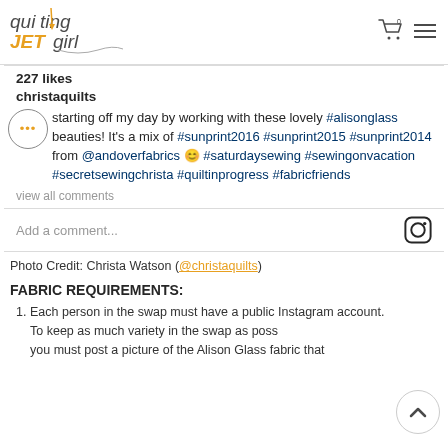quilting JETgirl
227 likes
christaquilts
starting off my day by working with these lovely #alisonglass beauties! It's a mix of #sunprint2016 #sunprint2015 #sunprint2014 from @andoverfabrics 😊 #saturdaysewing #sewingonvacation #secretsewingchrista #quiltinprogress #fabricfriends
view all comments
Add a comment...
Photo Credit: Christa Watson (@christaquilts)
FABRIC REQUIREMENTS:
Each person in the swap must have a public Instagram account. To keep as much variety in the swap as possible you must post a picture of the Alison Glass fabric that